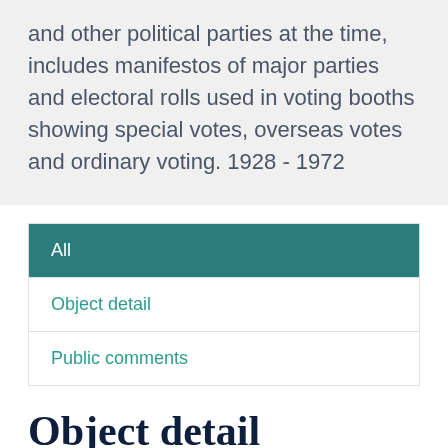and other political parties at the time, includes manifestos of major parties and electoral rolls used in voting booths showing special votes, overseas votes and ordinary voting. 1928 - 1972
All
Object detail
Public comments
Object detail